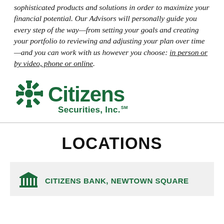sophisticated products and solutions in order to maximize your financial potential. Our Advisors will personally guide you every step of the way—from setting your goals and creating your portfolio to reviewing and adjusting your plan over time—and you can work with us however you choose: in person or by video, phone or online.
[Figure (logo): Citizens Securities, Inc. logo in dark green with snowflake/asterisk icon]
LOCATIONS
CITIZENS BANK, NEWTOWN SQUARE